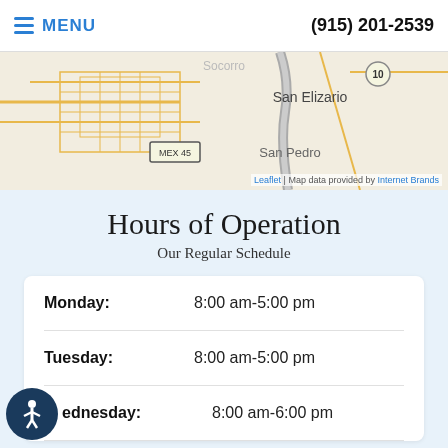MENU  (915) 201-2539
[Figure (map): Street map showing San Elizario area with MEX 45 highway, road networks in orange/yellow, and a river/road in gray. Shows San Elizario and San Pedro labels.]
Leaflet | Map data provided by Internet Brands
Hours of Operation
Our Regular Schedule
| Day | Hours |
| --- | --- |
| Monday: | 8:00 am-5:00 pm |
| Tuesday: | 8:00 am-5:00 pm |
| Wednesday: | 8:00 am-6:00 pm |